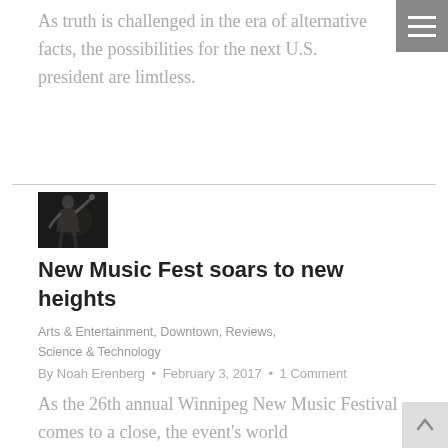As truth is challenged in the era of alternative facts, the possibilities for the next U.S. president are limtless.
[Figure (photo): A dark photograph of a conductor raising their hand, performing on stage.]
New Music Fest soars to new heights
Arts & Entertainment, Downtown, Reviews, Science & Technology
By Noah Erenberg • February 3, 2017 • 1 Comment
As the 26th annual Winnipeg New Music Festival comes to a close, the event's world